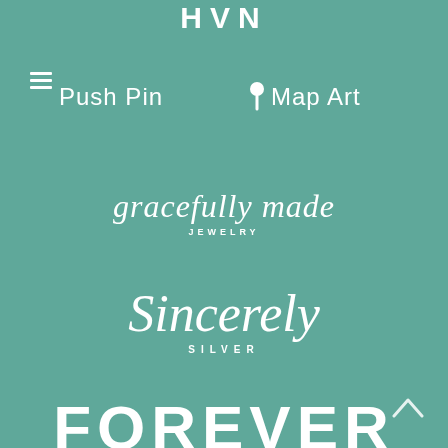[Figure (logo): HVN logo text at top, partially cropped, white on teal background]
[Figure (logo): Hamburger/menu icon, three white horizontal lines, top left]
[Figure (logo): Push Pin Map Art logo with pin icon, white text on teal background]
[Figure (logo): gracefully made JEWELRY logo in script font with JEWELRY subtitle, white on teal]
[Figure (logo): Sincerely Silver logo in large script with SILVER subtitle, white on teal]
[Figure (logo): FOREVER logo in large bold capitals, white on teal, partially cropped at bottom]
[Figure (other): Back-to-top caret/arrow icon, bottom right]